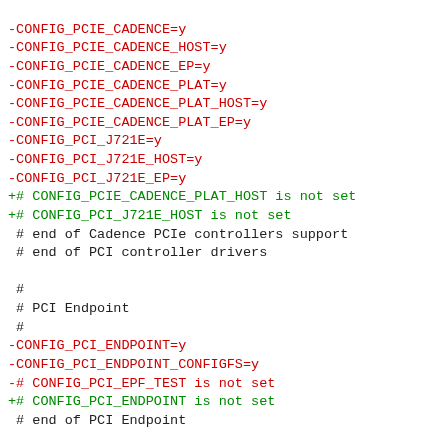-CONFIG_PCIE_CADENCE=y
-CONFIG_PCIE_CADENCE_HOST=y
-CONFIG_PCIE_CADENCE_EP=y
-CONFIG_PCIE_CADENCE_PLAT=y
-CONFIG_PCIE_CADENCE_PLAT_HOST=y
-CONFIG_PCIE_CADENCE_PLAT_EP=y
-CONFIG_PCI_J721E=y
-CONFIG_PCI_J721E_HOST=y
-CONFIG_PCI_J721E_EP=y
+# CONFIG_PCIE_CADENCE_PLAT_HOST is not set
+# CONFIG_PCI_J721E_HOST is not set
 # end of Cadence PCIe controllers support
 # end of PCI controller drivers

 #
 # PCI Endpoint
 #
-CONFIG_PCI_ENDPOINT=y
-CONFIG_PCI_ENDPOINT_CONFIGFS=y
-# CONFIG_PCI_EPF_TEST is not set
+# CONFIG_PCI_ENDPOINT is not set
 # end of PCI Endpoint

 #
@@ -2137,25 +2113,7 @@ CONFIG_I82365=m
 CONFIG_TCIC=m
 CONFIG_PCMCIA_PROBE=y
 CONFIG_PCCARD_NONSTATIC=y
-CONFIG_RAPIDIO=m
-CONFIG_RAPIDIO_TSI721=m
-CONFIG_RAPIDIO_DISC_TIMEOUT=m